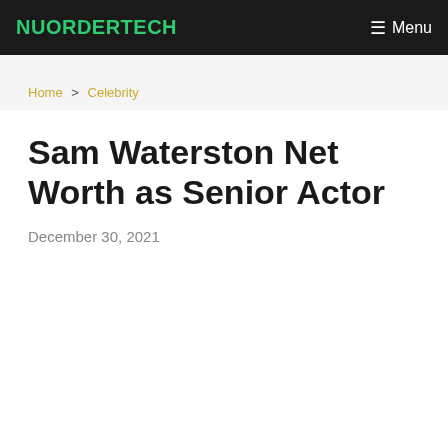NUORDERTECH  Menu
Home > Celebrity
Sam Waterston Net Worth as Senior Actor
December 30, 2021